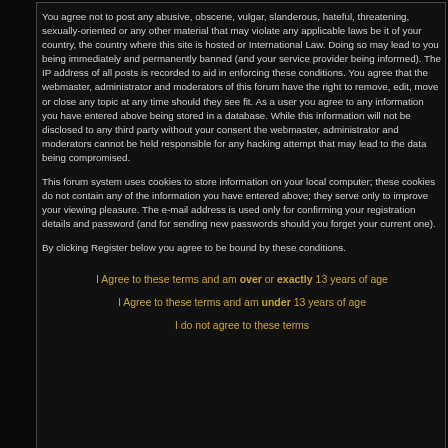You agree not to post any abusive, obscene, vulgar, slanderous, hateful, threatening, sexually-oriented or any other material that may violate any applicable laws be it of your country, the country where this site is hosted or International Law. Doing so may lead to you being immediately and permanently banned (and your service provider being informed). The IP address of all posts is recorded to aid in enforcing these conditions. You agree that the webmaster, administrator and moderators of this forum have the right to remove, edit, move or close any topic at any time should they see fit. As a user you agree to any information you have entered above being stored in a database. While this information will not be disclosed to any third party without your consent the webmaster, administrator and moderators cannot be held responsible for any hacking attempt that may lead to the data being compromised.
This forum system uses cookies to store information on your local computer; these cookies do not contain any of the information you have entered above; they serve only to improve your viewing pleasure. The e-mail address is used only for confirming your registration details and password (and for sending new passwords should you forget your current one).
By clicking Register below you agree to be bound by these conditions.
I Agree to these terms and am over or exactly 13 years of age
I Agree to these terms and am under 13 years of age
I do not agree to these terms
Wilt u geen reclame op dit forum en genieten van extra voordelen? Klik dan vlug hier voor meer info Powered by phpBB © 2001, 2002 phpBB Group immo op Realo Maak snel, eenvoudig en gratis uw eigen forum: Gratis Forum